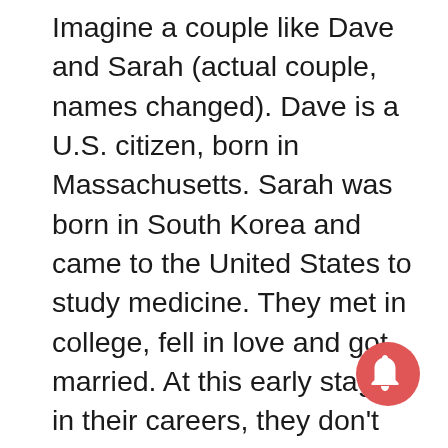Imagine a couple like Dave and Sarah (actual couple, names changed). Dave is a U.S. citizen, born in Massachusetts. Sarah was born in South Korea and came to the United States to study medicine. They met in college, fell in love and got married. At this early stage in their careers, they don't make much money. In fact, under the terms of Sarah's student visa, she's not allowed to work at all. Dave can sponsor Sarah for a spousal green card as long as he can demonstrate sufficient financial resources to support her — defined by Congress as 125 percent of the Federal Poverty Guidelines (currently $20,575 for most couples without children). That's an objective standard most couples can meet.
Under the new public charge rule, however